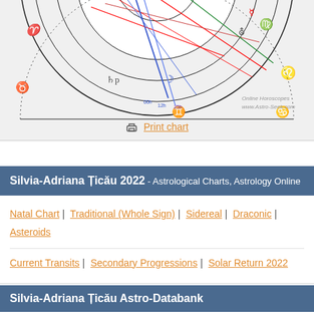[Figure (other): Partial astrological natal chart (horoscope wheel) showing zodiac signs, planetary symbols, aspect lines in red, blue, and green. Bottom-right corner shows 'Online Horoscopes www.Astro-Seek.com'. Chart is cropped at top and sides.]
Print chart
Silvia-Adriana Țicău 2022 - Astrological Charts, Astrology Online
Natal Chart | Traditional (Whole Sign) | Sidereal | Draconic | Asteroids
Current Transits | Secondary Progressions | Solar Return 2022
Silvia-Adriana Țicău Astro-Databank